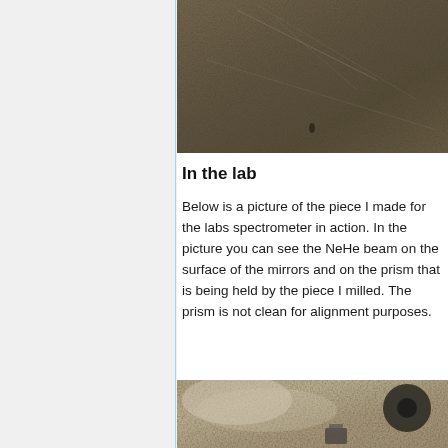[Figure (photo): A close-up photograph of a textured rocky or metallic surface, grainy black-and-white/sepia image showing scratches and marks. A small dark figure or mark is visible near the bottom center.]
In the lab
Below is a picture of the piece I made for the labs spectrometer in action. In the picture you can see the NeHe beam on the surface of the mirrors and on the prism that is being held by the piece I milled. The prism is not clean for alignment purposes.
[Figure (photo): A sepia/tan-toned photograph of a laboratory optical setup on a table, showing optical components including what appears to be a round optical element and a small block, with a foggy or hazy atmosphere.]